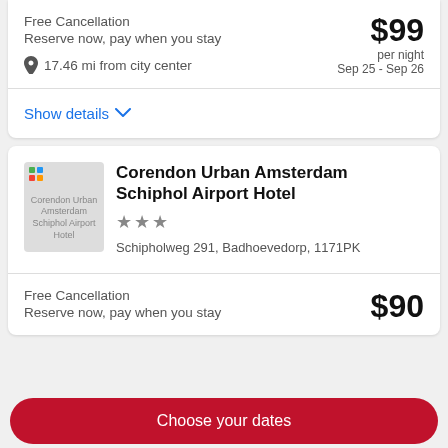Free Cancellation
Reserve now, pay when you stay
17.46 mi from city center
$99 per night Sep 25 - Sep 26
Show details
Corendon Urban Amsterdam Schiphol Airport Hotel
★★★
Schipholweg 291, Badhoevedorp, 1171PK
Free Cancellation
Reserve now, pay when you stay
$90
Choose your dates